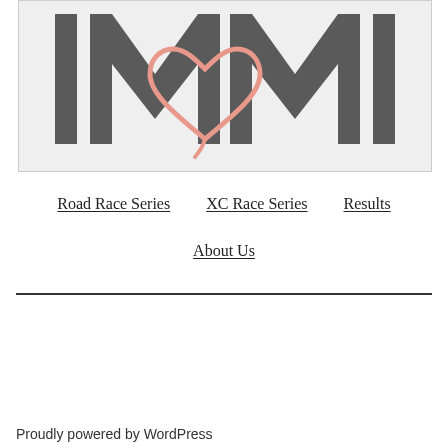[Figure (logo): MMI logo with two large M letters in dark gray and a pink hand-drawn heart between them on a light gray background]
Road Race Series
XC Race Series
Results
About Us
Proudly powered by WordPress